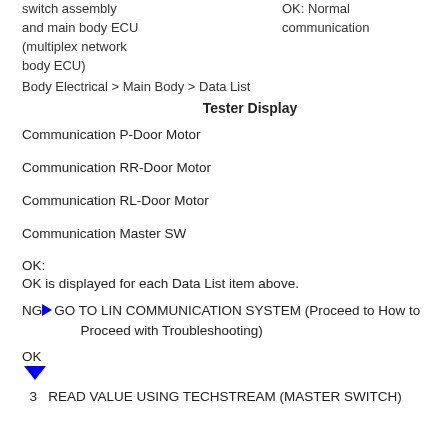switch assembly and main body ECU (multiplex network body ECU)
OK: Normal communication
Body Electrical > Main Body > Data List
Tester Display
Communication P-Door Motor
Communication RR-Door Motor
Communication RL-Door Motor
Communication Master SW
OK:
OK is displayed for each Data List item above.
NG▶GO TO LIN COMMUNICATION SYSTEM (Proceed to How to Proceed with Troubleshooting)
OK
3   READ VALUE USING TECHSTREAM (MASTER SWITCH)